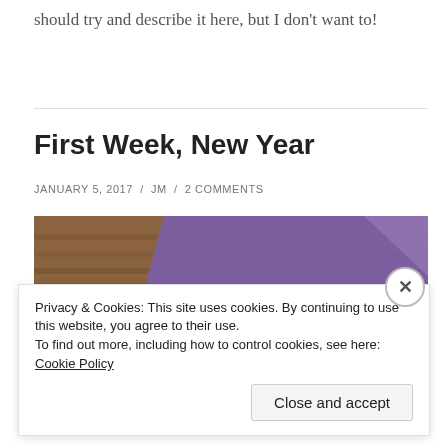should try and describe it here, but I don't want to!
First Week, New Year
JANUARY 5, 2017 / JM / 2 COMMENTS
[Figure (photo): A green bowl or cup on a purple surface against a wooden background, photographed from above.]
Privacy & Cookies: This site uses cookies. By continuing to use this website, you agree to their use.
To find out more, including how to control cookies, see here: Cookie Policy
Close and accept